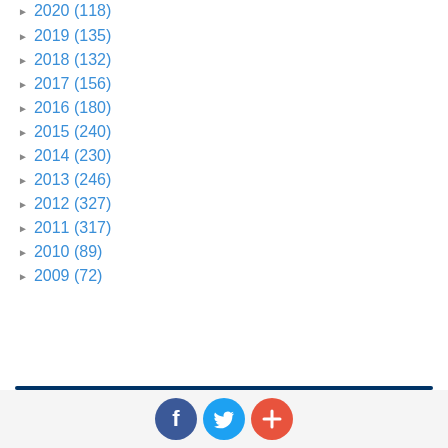2020 (118)
2019 (135)
2018 (132)
2017 (156)
2016 (180)
2015 (240)
2014 (230)
2013 (246)
2012 (327)
2011 (317)
2010 (89)
2009 (72)
[Figure (other): Social share buttons: Facebook, Twitter, and a plus/share button]